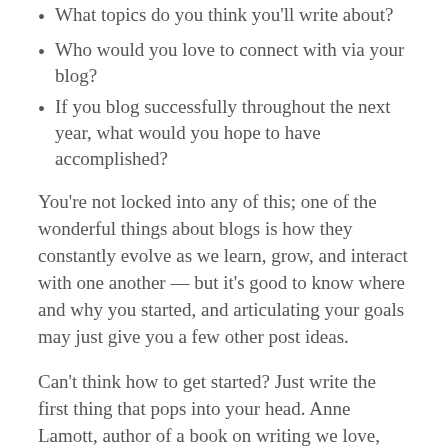What topics do you think you'll write about?
Who would you love to connect with via your blog?
If you blog successfully throughout the next year, what would you hope to have accomplished?
You’re not locked into any of this; one of the wonderful things about blogs is how they constantly evolve as we learn, grow, and interact with one another — but it’s good to know where and why you started, and articulating your goals may just give you a few other post ideas.
Can’t think how to get started? Just write the first thing that pops into your head. Anne Lamott, author of a book on writing we love, says that you need to give yourself permission to write a “crappy first draft”. Anne makes a great point — just start writing, and worry about editing it later.